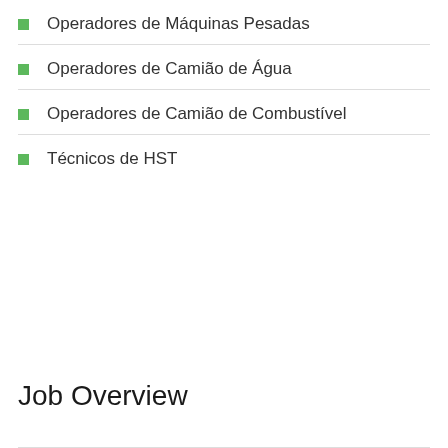Operadores de Máquinas Pesadas
Operadores de Camião de Água
Operadores de Camião de Combustível
Técnicos de HST
Job Overview